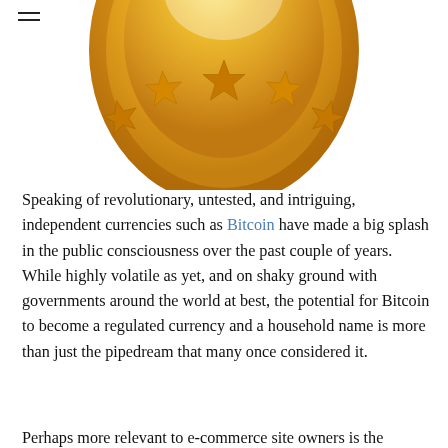SALEHOO
[Figure (illustration): Bottom portion of a gold coin with five gold stars arranged in an arc, on a white background]
Speaking of revolutionary, untested, and intriguing, independent currencies such as Bitcoin have made a big splash in the public consciousness over the past couple of years. While highly volatile as yet, and on shaky ground with governments around the world at best, the potential for Bitcoin to become a regulated currency and a household name is more than just the pipedream that many once considered it.
Perhaps more relevant to e-commerce site owners is the